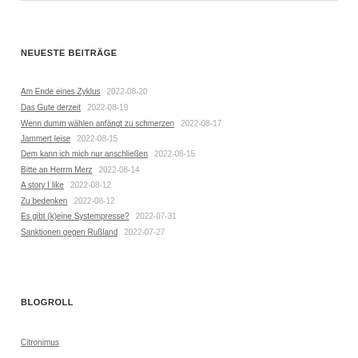NEUESTE BEITRÄGE
Am Ende eines Zyklus    2022-08-20
Das Gute derzeit    2022-08-19
Wenn dumm wählen anfängt zu schmerzen    2022-08-17
Jammert leise    2022-08-15
Dem kann ich mich nur anschließen    2022-08-15
Bitte an Herrm Merz    2022-08-14
A story I like    2022-08-12
Zu bedenken    2022-08-12
Es gibt (k)eine Systempresse?    2022-07-31
Sanktionen gegen Rußland    2022-07-27
BLOGROLL
Citronimus